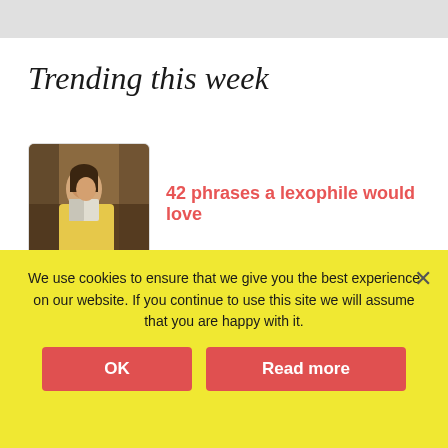Trending this week
42 phrases a lexophile would love
Privacy Policy
About
We use cookies to ensure that we give you the best experience on our website. If you continue to use this site we will assume that you are happy with it.